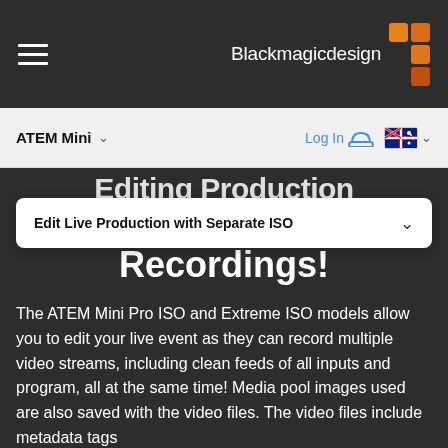Blackmagicdesign
ATEM Mini
Log In
Edit Live Production with Separate ISO Recordings!
Edit Live Production with Separate ISO
The ATEM Mini Pro ISO and Extreme ISO models allow you to edit your live event as they can record multiple video streams, including clean feeds of all inputs and program, all at the same time! Media pool images used are also saved with the video files. The video files include metadata tags